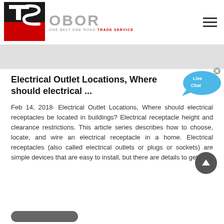[Figure (logo): TS OBOR logo — red and black TS icon on left, 'OBOR' in gray text with tagline 'ONE BELT ONE ROAD TRADE SERVICE' below]
Electrical Outlet Locations, Where should electrical ...
Feb 14, 2018· Electrical Outlet Locations, Where should electrical receptacles be located in buildings? Electrical receptacle height and clearance restrictions. This article series describes how to choose, locate, and wire an electrical receptacle in a home. Electrical receptacles (also called electrical outlets or plugs or sockets) are simple devices that are easy to install, but there are details to get ...